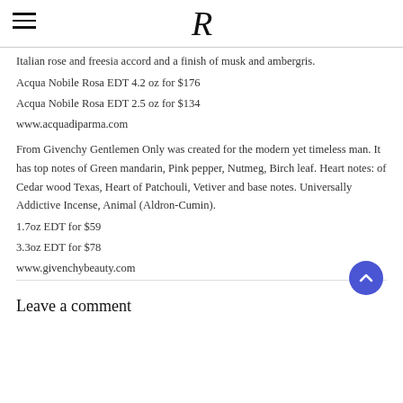R
Italian rose and freesia accord and a finish of musk and ambergris.
Acqua Nobile Rosa EDT 4.2 oz for $176
Acqua Nobile Rosa EDT 2.5 oz for $134
www.acquadiparma.com
From Givenchy Gentlemen Only was created for the modern yet timeless man. It has top notes of Green mandarin, Pink pepper, Nutmeg, Birch leaf. Heart notes: of Cedar wood Texas, Heart of Patchouli, Vetiver and base notes. Universally Addictive Incense, Animal (Aldron-Cumin).
1.7oz EDT for $59
3.3oz EDT for $78
www.givenchybeauty.com
Leave a comment